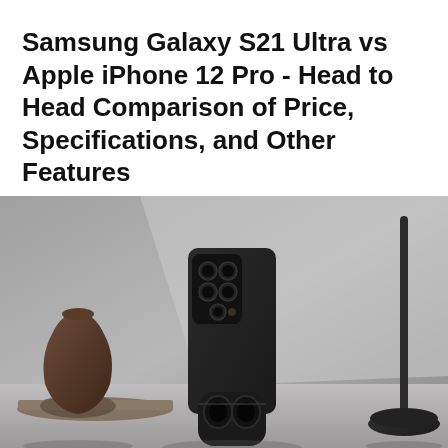Samsung Galaxy S21 Ultra vs Apple iPhone 12 Pro - Head to Head Comparison of Price, Specifications, and Other Features
[Figure (photo): Product photo of Samsung Galaxy S21 Ultra smartphone standing upright showing rear quad-camera system, with Galaxy Buds earphone case open in front, a decorative clay vase on the left, and a modern desk lamp on the right, all on a grey surface against a grey background.]